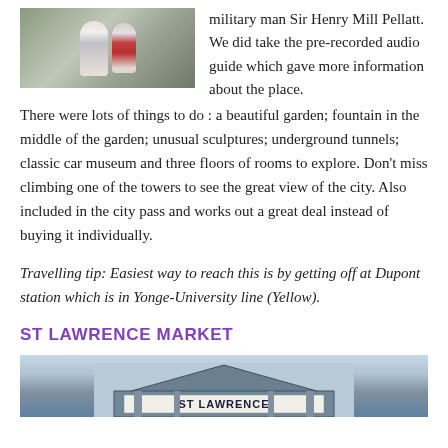[Figure (photo): Two people standing outdoors, one in white jacket and one with red scarf]
military man Sir Henry Mill Pellatt. We did take the pre-recorded audio guide which gave more information about the place. There were lots of things to do : a beautiful garden; fountain in the middle of the garden; unusual sculptures; underground tunnels; classic car museum and three floors of rooms to explore. Don't miss climbing one of the towers to see the great view of the city. Also included in the city pass and works out a great deal instead of buying it individually.
Travelling tip: Easiest way to reach this is by getting off at Dupont station which is in Yonge-University line (Yellow).
ST LAWRENCE MARKET
[Figure (photo): St Lawrence Market building exterior sign reading ST LAWRENCE]